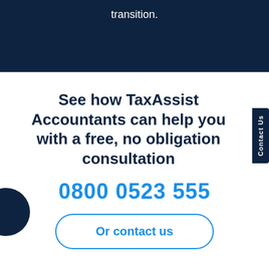transition.
See how TaxAssist Accountants can help you with a free, no obligation consultation
0800 0523 555
Or contact us
Contact Us